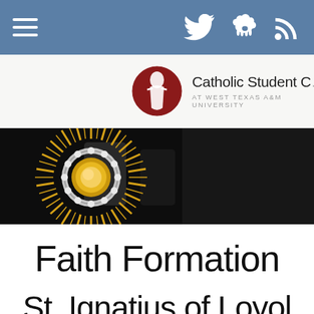[Figure (screenshot): Website navigation bar with hamburger menu icon on left and social media icons (Twitter, Goodreads/sheep, RSS feed) on right, on blue-gray background]
[Figure (logo): Catholic Student Center at West Texas A&M University logo: dark red circle with white figure of Christ, beside organization name text]
[Figure (photo): Hero banner photograph of a gold monstrance (eucharistic vessel) with sunburst rays and jeweled ring, against dark background with blurred figures]
Faith Formation
St. Ignatius of Loyol